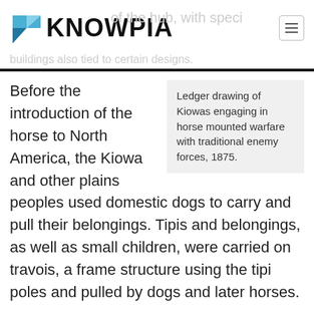KNOWPIA
Before the introduction of the horse to North America, the Kiowa and other plains peoples used domestic dogs to carry and pull their belongings. Tipis and belongings, as well as small children, were carried on travois, a frame structure using the tipi poles and pulled by dogs and later horses.
Ledger drawing of Kiowas engaging in horse mounted warfare with traditional enemy forces, 1875.
The introduction of the horse to Kiowa society revolutionized their way of life. They acquired horses by raiding rancheros south of the Rio Grande into